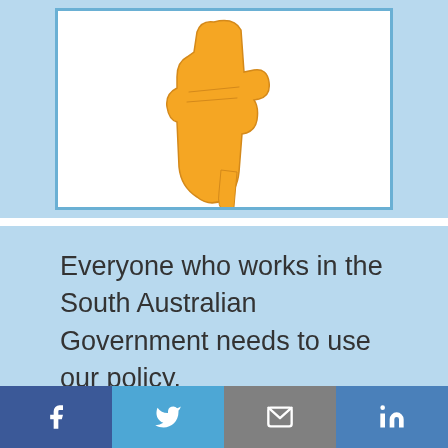[Figure (illustration): Hand pointing downward illustration inside a white bordered box on light blue background]
Everyone who works in the South Australian Government needs to use our policy.
[Figure (illustration): Calendar showing 16 May inside a white bordered box on light blue background]
[Figure (infographic): Social media footer with Facebook, Twitter, Email, and LinkedIn icons]